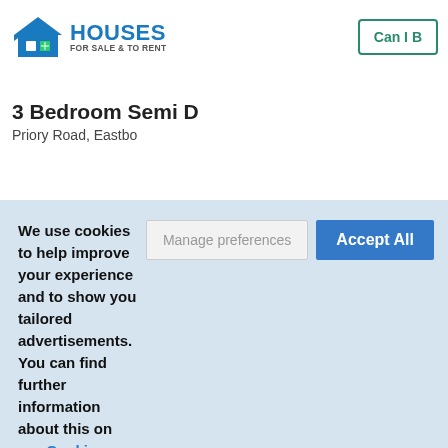HOUSES FOR SALE & TO RENT
Can I B
3 Bedroom Semi D
Priory Road, Eastbo
We use cookies to help improve your experience and to show you tailored advertisements. You can find further information about this on our Cookie Policy.
Manage preferences
Accept All